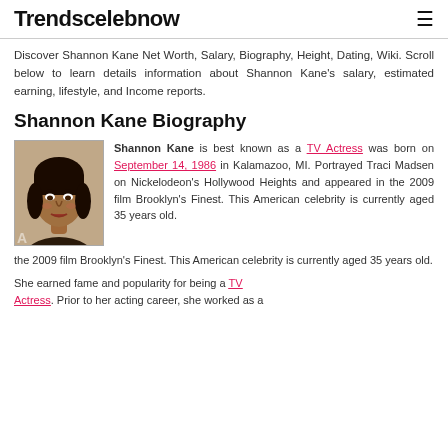Trendscelebnow
Discover Shannon Kane Net Worth, Salary, Biography, Height, Dating, Wiki. Scroll below to learn details information about Shannon Kane's salary, estimated earning, lifestyle, and Income reports.
Shannon Kane Biography
[Figure (photo): Photo of Shannon Kane, a woman with dark hair and makeup, cropped portrait.]
Shannon Kane is best known as a TV Actress was born on September 14, 1986 in Kalamazoo, MI. Portrayed Traci Madsen on Nickelodeon's Hollywood Heights and appeared in the 2009 film Brooklyn's Finest. This American celebrity is currently aged 35 years old.
She earned fame and popularity for being a TV Actress. Prior to her acting career, she worked as a